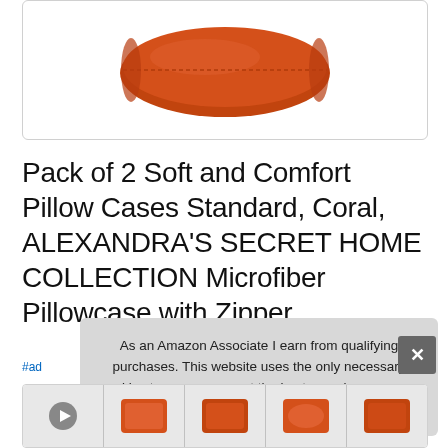[Figure (photo): Coral/orange colored pillow case product image on white background with rounded border box]
Pack of 2 Soft and Comfort Pillow Cases Standard, Coral, ALEXANDRA'S SECRET HOME COLLECTION Microfiber Pillowcase with Zipper
#ad
As an Amazon Associate I earn from qualifying purchases. This website uses the only necessary cookies to ensure you get the best experience on our website. More information
[Figure (photo): Row of product thumbnail images at the bottom showing coral pillow cases]